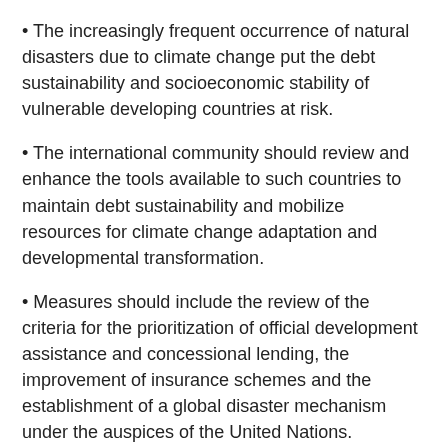The increasingly frequent occurrence of natural disasters due to climate change put the debt sustainability and socioeconomic stability of vulnerable developing countries at risk.
The international community should review and enhance the tools available to such countries to maintain debt sustainability and mobilize resources for climate change adaptation and developmental transformation.
Measures should include the review of the criteria for the prioritization of official development assistance and concessional lending, the improvement of insurance schemes and the establishment of a global disaster mechanism under the auspices of the United Nations.
The devastating impact in the Caribbean region of the hurricane season in 2017 has put the spotlight on the wide-ranging consequences of environmental vulnerability